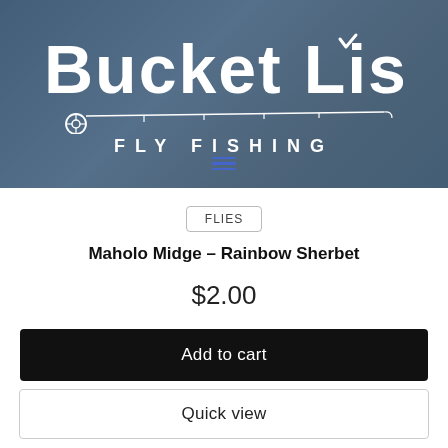[Figure (logo): Bucket List Fly Fishing logo — white text on dark blue-grey background photo, with a fishing rod graphic and checkmark on the letter i]
FLIES
Maholo Midge – Rainbow Sherbet
$2.00
Add to cart
Quick view